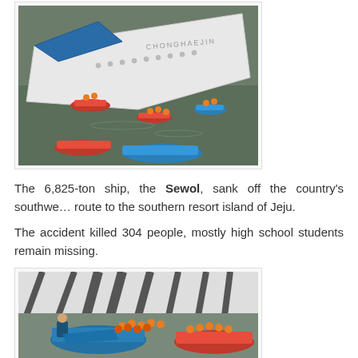[Figure (photo): Aerial view of the Sewol ferry capsizing, tilted sideways in murky water with rescue boats surrounding it. The white hull of the ship is visible with text reading CHONGHAEJIN. People in orange life vests are visible in the water and on rescue boats.]
The 6,825-ton ship, the Sewol, sank off the country's southwest coast en route to the southern resort island of Jeju.
The accident killed 304 people, mostly high school students and nine remain missing.
[Figure (photo): Close-up aerial view of rescue operation during the Sewol ferry sinking. Rescue workers in orange life vests are crowded on rescue boats alongside the partially submerged white hull of the ferry. A person in blue jacket is visible on one of the rescue boats.]